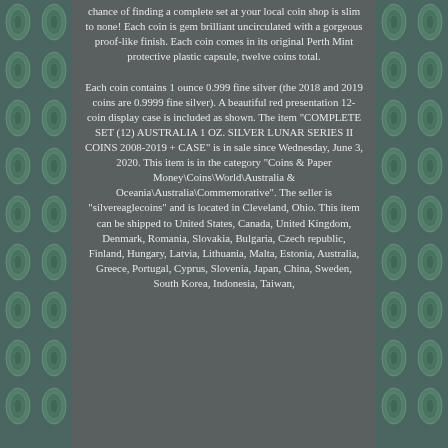chance of finding a complete set at your local coin shop is slim to none! Each coin is gem brilliant uncirculated with a gorgeous proof-like finish. Each coin comes in its original Perth Mint protective plastic capsule, twelve coins total.

Each coin contains 1 ounce 0.999 fine silver (the 2018 and 2019 coins are 0.9999 fine silver). A beautiful red presentation 12-coin display case is included as shown. The item "COMPLETE SET (12) AUSTRALIA 1 OZ. SILVER LUNAR SERIES II COINS 2008-2019 + CASE" is in sale since Wednesday, June 3, 2020. This item is in the category "Coins & Paper Money\Coins\World\Australia & Oceania\Australia\Commemorative". The seller is "silvereaglecoins" and is located in Cleveland, Ohio. This item can be shipped to United States, Canada, United Kingdom, Denmark, Romania, Slovakia, Bulgaria, Czech republic, Finland, Hungary, Latvia, Lithuania, Malta, Estonia, Australia, Greece, Portugal, Cyprus, Slovenia, Japan, China, Sweden, South Korea, Indonesia, Taiwan,